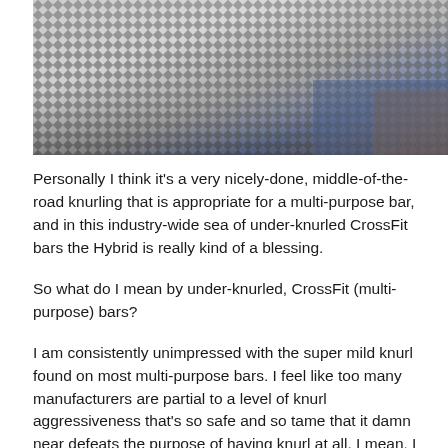[Figure (photo): Close-up photograph of knurled barbell surface showing diamond-pattern grip texture in metallic silver/grey, with blue background visible in lower right]
Personally I think it's a very nicely-done, middle-of-the-road knurling that is appropriate for a multi-purpose bar, and in this industry-wide sea of under-knurled CrossFit bars the Hybrid is really kind of a blessing.
So what do I mean by under-knurled, CrossFit (multi-purpose) bars?
I am consistently unimpressed with the super mild knurl found on most multi-purpose bars. I feel like too many manufacturers are partial to a level of knurl aggressiveness that's so safe and so tame that it damn near defeats the purpose of having knurl at all. I mean, I get it that folks don't want Ohio Power Bar knurling on a bar they WOD with, but the line between mild knurling and super aggressive knurling is not so thin. It's not an all or nothing thing.